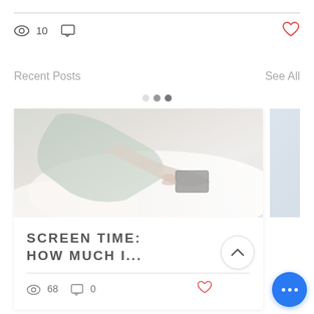10
Recent Posts
See All
[Figure (photo): Person lying in bed using a smartphone, wearing a light gray/green shirt, white bedding visible]
SCREEN TIME: HOW MUCH I...
68  0